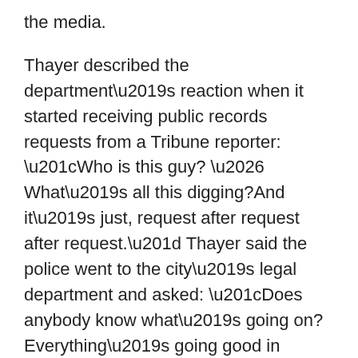the media.
Thayer described the department’s reaction when it started receiving public records requests from a Tribune reporter: “Who is this guy? … What’s all this digging?And it’s just, request after request after request.” Thayer said the police went to the city’s legal department and asked: “Does anybody know what’s going on? Everything’s going good in Elkhart. Why are they coming over here, into our backyard, and trying to disrupt everything we built?”
Thayer also criticized reporters for reaching out to officers to ask about their disciplinary records. He took issue with a ProPublica reporter who phoned a sergeant to ask about his personnel history, which included 11 suspensions and 15